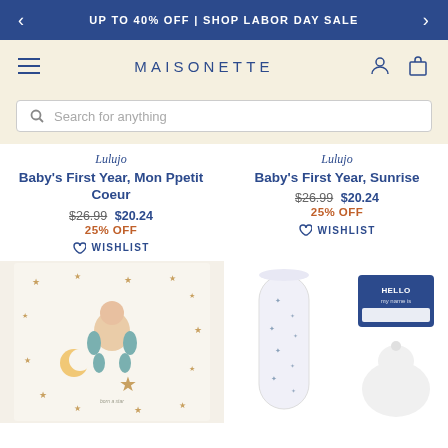UP TO 40% OFF | SHOP LABOR DAY SALE
MAISONETTE
Search for anything
Lulujo
Baby's First Year, Mon Ppetit Coeur
$26.99 $20.24
25% OFF
WISHLIST
Lulujo
Baby's First Year, Sunrise
$26.99 $20.24
25% OFF
WISHLIST
[Figure (photo): Baby lying on star-patterned milestone blanket with moon and star props]
[Figure (photo): Star-patterned muslin swaddle blanket rolled up]
[Figure (photo): Hello my name is tag with infant hat below it]